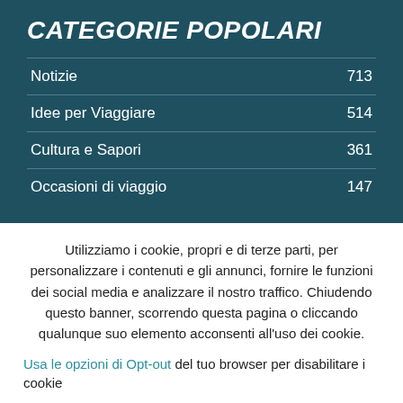CATEGORIE POPOLARI
| Category | Count |
| --- | --- |
| Notizie | 713 |
| Idee per Viaggiare | 514 |
| Cultura e Sapori | 361 |
| Occasioni di viaggio | 147 |
Utilizziamo i cookie, propri e di terze parti, per personalizzare i contenuti e gli annunci, fornire le funzioni dei social media e analizzare il nostro traffico. Chiudendo questo banner, scorrendo questa pagina o cliccando qualunque suo elemento acconsenti all'uso dei cookie.
Usa le opzioni di Opt-out del tuo browser per disabilitare i cookie
ACCETTO   Altre Informazioni